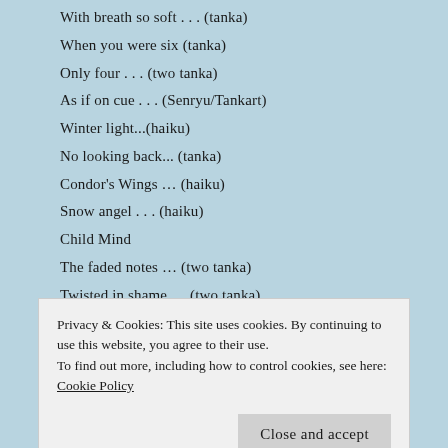With breath so soft . . . (tanka)
When you were six (tanka)
Only four . . . (two tanka)
As if on cue . . . (Senryu/Tankart)
Winter light...(haiku)
No looking back... (tanka)
Condor's Wings … (haiku)
Snow angel . . . (haiku)
Child Mind
The faded notes … (two tanka)
Twisted in shame … (two tanka)
The ripple of rain … (tankart)
Sipping skinny lattés
Privacy & Cookies: This site uses cookies. By continuing to use this website, you agree to their use. To find out more, including how to control cookies, see here: Cookie Policy
A tiny soul . . . (tanka)